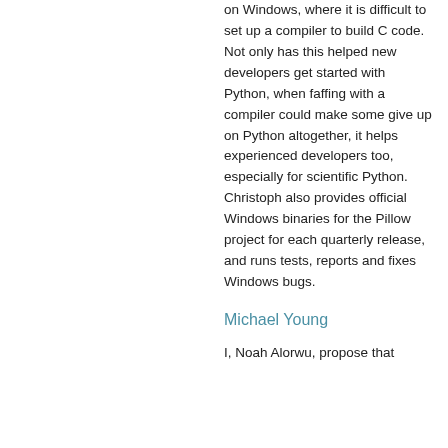on Windows, where it is difficult to set up a compiler to build C code. Not only has this helped new developers get started with Python, when faffing with a compiler could make some give up on Python altogether, it helps experienced developers too, especially for scientific Python. Christoph also provides official Windows binaries for the Pillow project for each quarterly release, and runs tests, reports and fixes Windows bugs.
Michael Young
I, Noah Alorwu, propose that